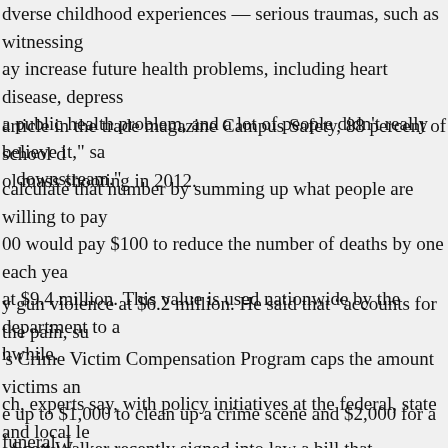dverse childhood experiences — serious traumas, such as witnessing ay increase future health problems, including heart disease, depress a public health problem, and a lot of people didn't really believe it," sa downstream."
article in the trade magazine Campus Safety, 88 percent of school d ol mass shooting in 2012.
calculate that number by summing up what people are willing to pay 00 would pay $100 to reduce the number of deaths by one each yea at $9.4 million. This value is used nationwide by the department to a hwhile.
y gun violence at $6.2 million. He said that “accounts for the pain, su
's Crime Victim Compensation Program caps the amount victims an e up to $1,000 to clean up a crime scene and $2,000 for a funeral. I
ch, experts say, with policy initiatives at the federal, state and local le n they can develop and become places that thrive economically whe f Duke.
Scott Walker recently signed into law a bill that establishes mand